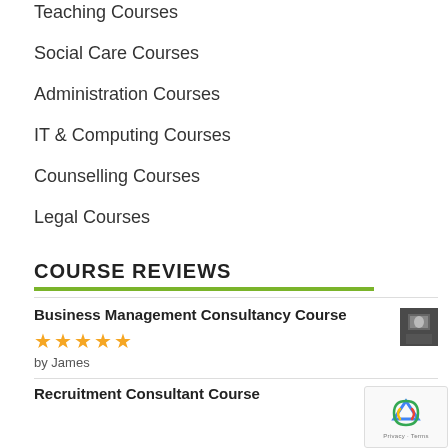Teaching Courses
Social Care Courses
Administration Courses
IT & Computing Courses
Counselling Courses
Legal Courses
COURSE REVIEWS
Business Management Consultancy Course
★★★★★ by James
Recruitment Consultant Course